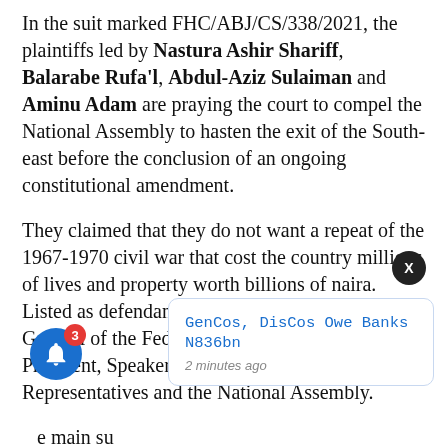In the suit marked FHC/ABJ/CS/338/2021, the plaintiffs led by Nastura Ashir Shariff, Balarabe Rufa'l, Abdul-Aziz Sulaiman and Aminu Adam are praying the court to compel the National Assembly to hasten the exit of the South-east before the conclusion of an ongoing constitutional amendment.
They claimed that they do not want a repeat of the 1967-1970 civil war that cost the country millions of lives and property worth billions of naira. Listed as defendants in the suit are the Attorney General of the Federation (AGF), Senate President, Speaker of the House of Representatives and the National Assembly.
...e main su... t for the following reliefs: "A declaration that by the combined effect of the provisions of Section 8 of the...
[Figure (screenshot): Notification popup card showing 'GenCos, DisCos Owe Banks N836bn' with timestamp '2 minutes ago', alongside a blue bell notification icon with red badge showing '3', and a dark close button with 'X'.]